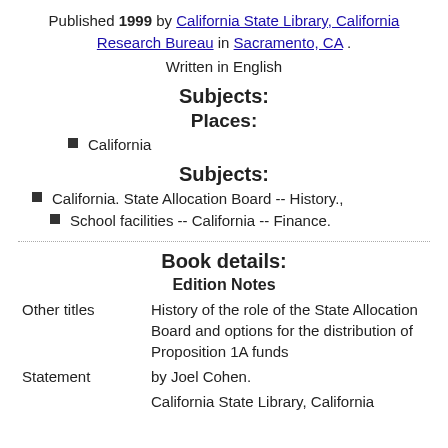Published 1999 by California State Library, California Research Bureau in Sacramento, CA .
Written in English
Subjects:
Places:
California
Subjects:
California. State Allocation Board -- History.,
School facilities -- California -- Finance.
Book details:
Edition Notes
|  |  |
| --- | --- |
| Other titles | History of the role of the State Allocation Board and options for the distribution of Proposition 1A funds |
| Statement | by Joel Cohen. |
|  | California State Library, California |